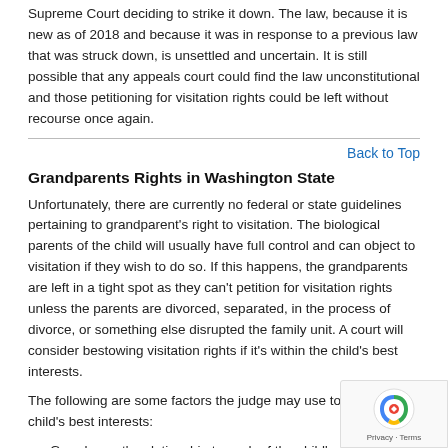Supreme Court deciding to strike it down. The law, because it is new as of 2018 and because it was in response to a previous law that was struck down, is unsettled and uncertain. It is still possible that any appeals court could find the law unconstitutional and those petitioning for visitation rights could be left without recourse once again.
Back to Top
Grandparents Rights in Washington State
Unfortunately, there are currently no federal or state guidelines pertaining to grandparent's right to visitation. The biological parents of the child will usually have full control and can object to visitation if they wish to do so. If this happens, the grandparents are left in a tight spot as they can't petition for visitation rights unless the parents are divorced, separated, in the process of divorce, or something else disrupted the family unit. A court will consider bestowing visitation rights if it's within the child's best interests.
The following are some factors the judge may use to determine a child's best interests:
Grandparent's relationship to each of the child's parents
What effect the visitation may have on the parent-child relationship